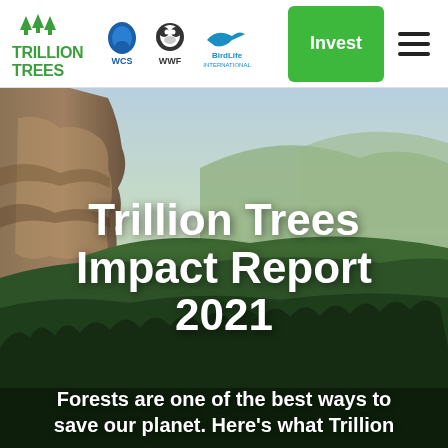[Figure (logo): Trillion Trees logo with green tree icons and bold green text, alongside partner logos: WCS, WWF, BirdLife International]
[Figure (photo): Aerial photograph of a forested landscape with dramatic rocky cliffs on the left and dense green forest covering rolling hills extending to the horizon]
Trillion Trees Impact Report 2021
Forests are one of the best ways to save our planet. Here's what Trillion